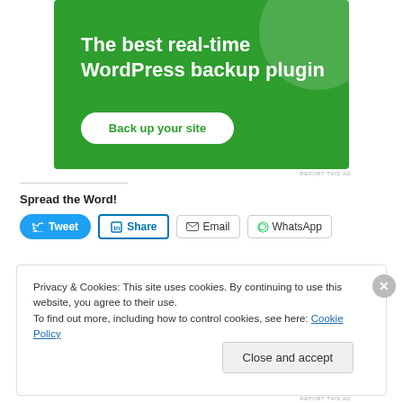[Figure (illustration): Green advertisement banner for WordPress backup plugin with text 'The best real-time WordPress backup plugin' and a 'Back up your site' button]
REPORT THIS AD
Spread the Word!
[Figure (infographic): Social sharing buttons row: Tweet (Twitter/blue), Share (LinkedIn/blue), Email, WhatsApp]
Privacy & Cookies: This site uses cookies. By continuing to use this website, you agree to their use.
To find out more, including how to control cookies, see here: Cookie Policy
Close and accept
REPORT THIS AD